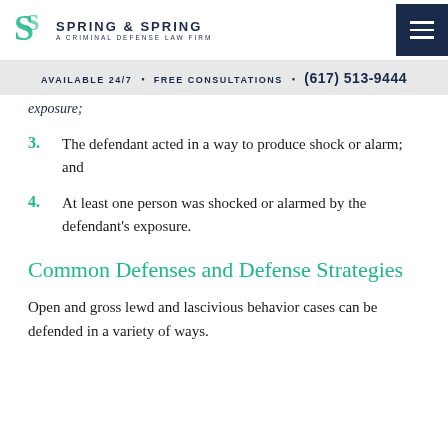Spring & Spring — A Criminal Defense Law Firm
AVAILABLE 24/7 • FREE CONSULTATIONS • (617) 513-9444
exposure;
3. The defendant acted in a way to produce shock or alarm; and
4. At least one person was shocked or alarmed by the defendant's exposure.
Common Defenses and Defense Strategies
Open and gross lewd and lascivious behavior cases can be defended in a variety of ways.